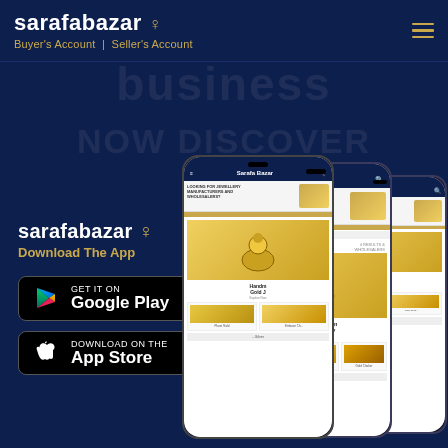sarafabazar ♀  Buyer's Account | Seller's Account
[Figure (screenshot): Sarafabazar app promotional banner showing app logo, Download The App text, Google Play and App Store buttons, and three smartphone mockups displaying the Sarafabazar jewellery marketplace app with gold jewellery listings.]
sarafabazar
Download The App
GET IT ON
Google Play
Download on the
App Store